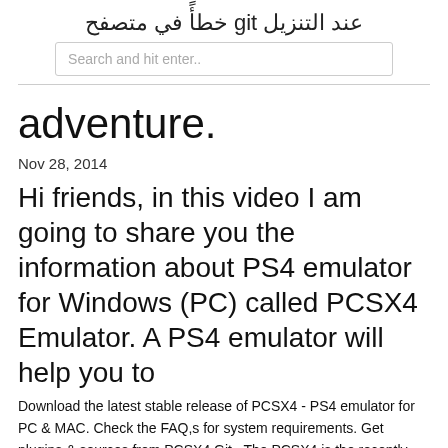عند التنزيل git خطأً في متصفح
Search and hit enter..
adventure.
Nov 28, 2014
Hi friends, in this video I am going to share you the information about PS4 emulator for Windows (PC) called PCSX4 Emulator. A PS4 emulator will help you to
Download the latest stable release of PCSX4 - PS4 emulator for PC & MAC. Check the FAQ,s for system requirements. Get plugins & sources from PCSX4 Git   The PCSX4 is the recently developed PS4 emulator that allows you to So, this is all about the PCSX4 PS4 emulator for PC and it said this program has Next after the whole set up download the favorite PS4 games After successfully downloading the files, double click